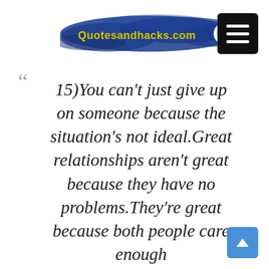[Figure (logo): Quotesandhacks.com logo on a blue paint brush stroke background with a circular icon on the right]
[Figure (other): Black hamburger menu button with three white horizontal lines]
““
15)You can’t just give up on someone because the situation’s not ideal.Great relationships aren’t great because they have no problems.They’re great because both people care enough
[Figure (other): Blue scroll-to-top button with upward arrow]